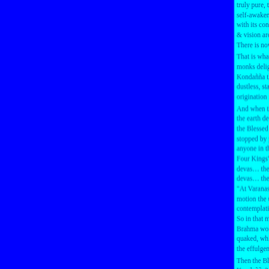truly pure, then I did claim to have directly awakened to the self-awakening unexcelled in the cosmos with its deities, Ma... with its contemplatives & priests, its royalty & commonfolk... & vision arose in me: 'Unprovoked is my release. This is the... There is now no further becoming.'
That is what the Blessed One said. Gratified, the group of fi... monks delighted at his words. And while this explanation wa... Kondañña the dustless, stainless Dhamma eye: Whatever is subject to origination is all subject to cessation.
And when the Blessed One had set the Wheel of Dhamma in... the earth devas cried out: "At Varanasi, in the Game Refuge... the Blessed One has set in motion the unexcelled Wheel of D... stopped by priest or contemplative, deva, Mara or God or anyone in the cosmos." On hearing the earth devas' cry, the Four Kings' Heaven took up the cry… the devas of the Thir... devas… the Nimmanarati devas… the Paranimmita-vasava... devas… the devas of Brahma's retinue took up the cry: "At Varanasi, in the Game Refuge at Isipatana, the Blessed ... motion the unexcelled Wheel of Dhamma that cannot be sto... contemplative, deva, Mara, or God or anyone at all in the co... So in that moment, that instant, the cry shot right up to the Brahma worlds. And this ten-thousand fold cosmos shivered... quaked, while a great, measureless radiance appeared in the... the effulgence of the devas.
Then the Blessed One exclaimed: "So you really know, Kondañña? So you really know?" And that is how Ven. Kon... name Añña-Kondañña — Kondañña who knows.
Notes
1. The Pali phrases for the four noble truths are gra... anomalies. From these anomalies, some scholars h... truth" is a later addition to the texts. Others have... that the content of the four truths is also a later a... arguments are based on the unproven assumption... spoke was grammatically regular, and that any...